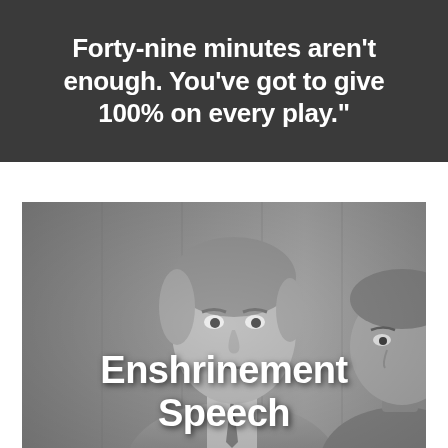Forty-nine minutes aren't enough. You've got to give 100% on every play."
[Figure (photo): Black and white photograph of two men, one in foreground with medium-length hair wearing a suit and tie, another partially visible on the right side of the frame, with wood-paneled background]
Enshrinement Speech